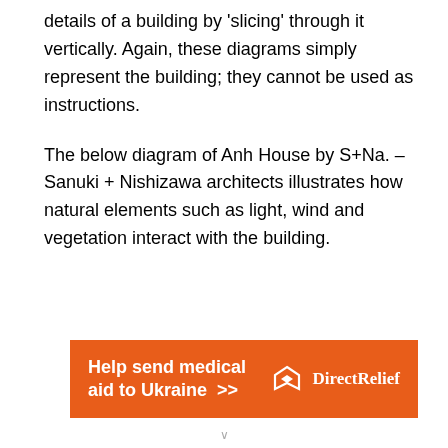details of a building by 'slicing' through it vertically. Again, these diagrams simply represent the building; they cannot be used as instructions.

The below diagram of Anh House by S+Na. – Sanuki + Nishizawa architects illustrates how natural elements such as light, wind and vegetation interact with the building.
[Figure (other): Orange advertisement banner for Direct Relief: 'Help send medical aid to Ukraine >>' with Direct Relief logo on right.]